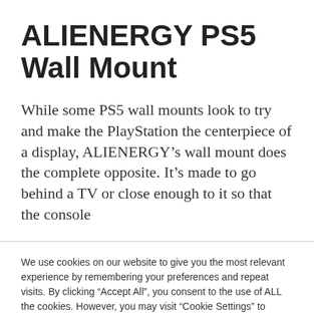ALIENERGY PS5 Wall Mount
While some PS5 wall mounts look to try and make the PlayStation the centerpiece of a display, ALIENERGY’s wall mount does the complete opposite. It’s made to go behind a TV or close enough to it so that the console
We use cookies on our website to give you the most relevant experience by remembering your preferences and repeat visits. By clicking “Accept All”, you consent to the use of ALL the cookies. However, you may visit “Cookie Settings” to provide a controlled consent.
Cookie Settings | Accept All